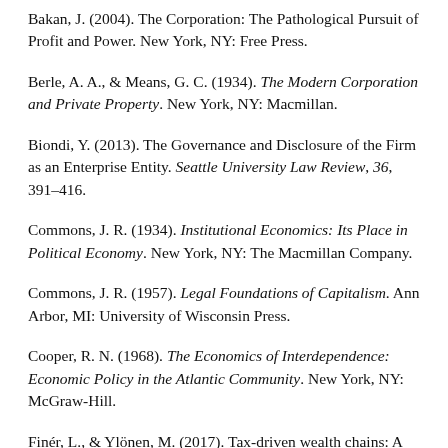Bakan, J. (2004). The Corporation: The Pathological Pursuit of Profit and Power. New York, NY: Free Press.
Berle, A. A., & Means, G. C. (1934). The Modern Corporation and Private Property. New York, NY: Macmillan.
Biondi, Y. (2013). The Governance and Disclosure of the Firm as an Enterprise Entity. Seattle University Law Review, 36, 391–416.
Commons, J. R. (1934). Institutional Economics: Its Place in Political Economy. New York, NY: The Macmillan Company.
Commons, J. R. (1957). Legal Foundations of Capitalism. Ann Arbor, MI: University of Wisconsin Press.
Cooper, R. N. (1968). The Economics of Interdependence: Economic Policy in the Atlantic Community. New York, NY: McGraw-Hill.
Finér, L., & Ylönen, M. (2017). Tax-driven wealth chains: A multiple case study of tax avoidance in the finnish mining